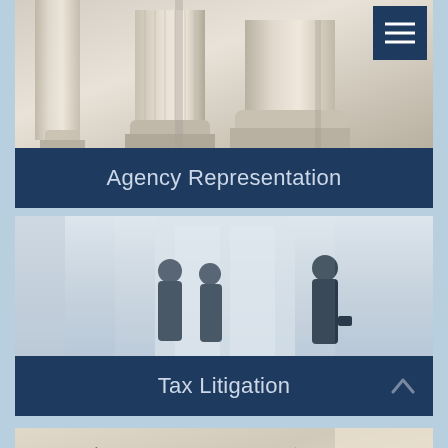[Figure (photo): Photo of classical stone columns (courthouse/government building) viewed from below at an angle, with a dark navy hamburger menu button in the top-right corner]
Agency Representation
[Figure (photo): Blurred photo of silhouettes of business people in a bright lobby or office corridor, suggesting a professional meeting setting]
Tax Litigation
[Figure (photo): Photo of medical/legal professionals reviewing documents, with hands visible holding pens and papers on a desk, partially cropped at bottom]